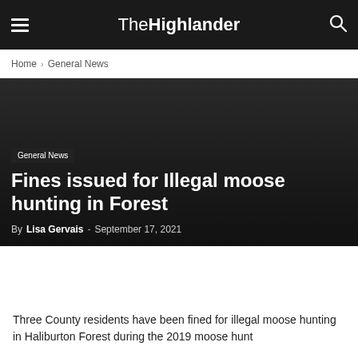The Highlander
Home › General News
General News
Fines issued for Illegal moose hunting in Forest
By Lisa Gervais - September 17, 2021
Three County residents have been fined for illegal moose hunting in Haliburton Forest during the 2019 moose hunt